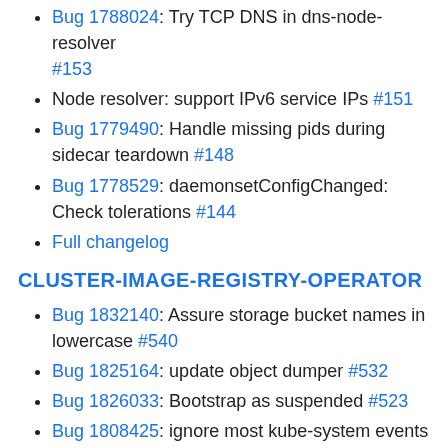Bug 1788024: Try TCP DNS in dns-node-resolver #153
Node resolver: support IPv6 service IPs #151
Bug 1779490: Handle missing pids during sidecar teardown #148
Bug 1778529: daemonsetConfigChanged: Check tolerations #144
Full changelog
CLUSTER-IMAGE-REGISTRY-OPERATOR
Bug 1832140: Assure storage bucket names in lowercase #540
Bug 1825164: update object dumper #532
Bug 1826033: Bootstrap as suspended #523
Bug 1808425: ignore most kube-system events #502
Bug 1823590: [release-4.4] Bump openshift/api #519
Bug 1810562: bootstrap HA configuration #512
Bug 1810490: Ignore Swift backend if the user